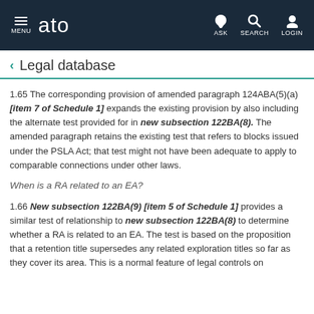MENU  ato  ASK  SEARCH  LOGIN
Legal database
1.65 The corresponding provision of amended paragraph 124ABA(5)(a) [item 7 of Schedule 1] expands the existing provision by also including the alternate test provided for in new subsection 122BA(8). The amended paragraph retains the existing test that refers to blocks issued under the PSLA Act; that test might not have been adequate to apply to comparable connections under other laws.
When is a RA related to an EA?
1.66 New subsection 122BA(9) [item 5 of Schedule 1] provides a similar test of relationship to new subsection 122BA(8) to determine whether a RA is related to an EA. The test is based on the proposition that a retention title supersedes any related exploration titles so far as they cover its area. This is a normal feature of legal controls on